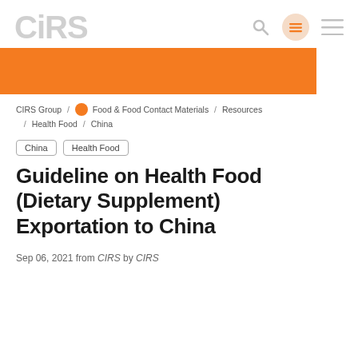CIRS
CIRS Group / Food & Food Contact Materials / Resources / Health Food / China
China   Health Food
Guideline on Health Food (Dietary Supplement) Exportation to China
Sep 06, 2021 from CIRS by CIRS